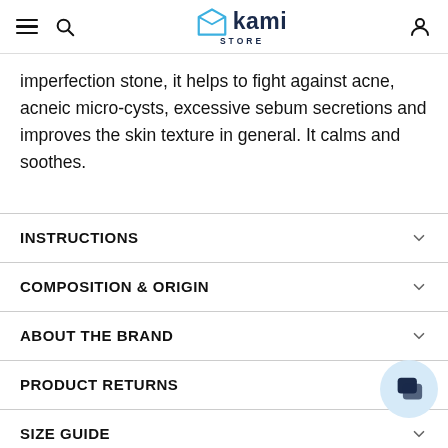kami STORE — navigation header
imperfection stone, it helps to fight against acne, acneic micro-cysts, excessive sebum secretions and improves the skin texture in general. It calms and soothes.
INSTRUCTIONS
COMPOSITION & ORIGIN
ABOUT THE BRAND
PRODUCT RETURNS
SIZE GUIDE